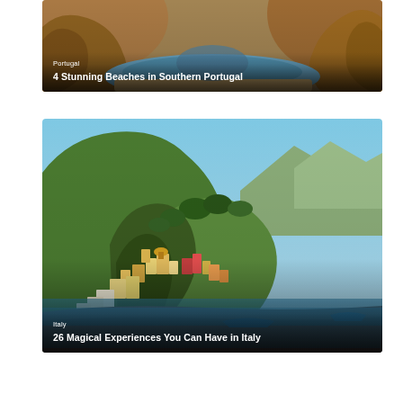[Figure (photo): Aerial view of rocky sea caves and sandy beaches in Southern Portugal, warm orange and ochre tones]
Portugal
4 Stunning Beaches in Southern Portugal
[Figure (photo): Aerial view of Positano or Amalfi coast town in Italy with colorful buildings built into cliffs above a dark pebble beach, green forested hills and blue sky]
Italy
26 Magical Experiences You Can Have in Italy